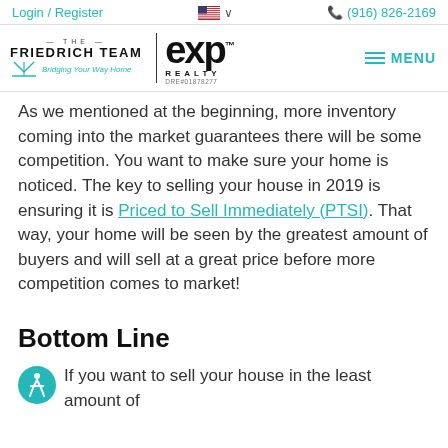Login / Register   🇺🇸 ∨   📞 (916) 826-2169
[Figure (logo): The Friedrich Team eXp Realty logo with bridge graphic and DRE#01878277, plus hamburger MENU button]
As we mentioned at the beginning, more inventory coming into the market guarantees there will be some competition. You want to make sure your home is noticed. The key to selling your house in 2019 is ensuring it is Priced to Sell Immediately (PTSI). That way, your home will be seen by the greatest amount of buyers and will sell at a great price before more competition comes to market!
Bottom Line
If you want to sell your house in the least amount of